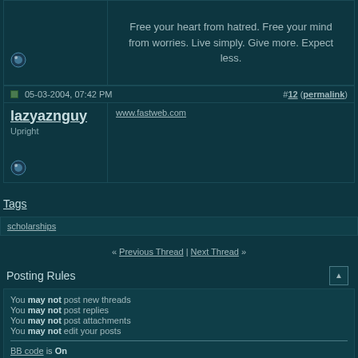Free your heart from hatred. Free your mind from worries. Live simply. Give more. Expect less.
05-03-2004, 07:42 PM  #12 (permalink)
lazyaznguy
Upright
www.fastweb.com
Tags
scholarships
« Previous Thread | Next Thread »
Posting Rules
You may not post new threads
You may not post replies
You may not post attachments
You may not edit your posts
BB code is On
Smilies are On
[IMG] code is On
HTML code is Off
Trackbacks are On
Pingbacks are On